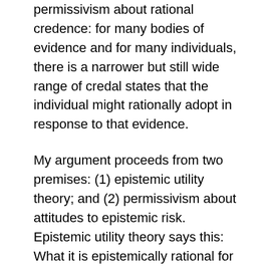permissivism about rational credence: for many bodies of evidence and for many individuals, there is a narrower but still wide range of credal states that the individual might rationally adopt in response to that evidence.
My argument proceeds from two premises: (1) epistemic utility theory; and (2) permissivism about attitudes to epistemic risk. Epistemic utility theory says this: What it is epistemically rational for you to believe is what it would be rational for you to choose if you got to pick your beliefs and, when picking them, you cared only for their purely epistemic value. So, to say which credences it is epistemically rational for you to have, we must say how you should measure purely epistemic value,